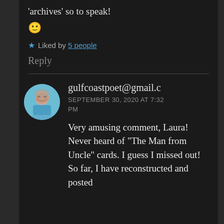'archives' so to speak!
🙂
★ Liked by 5 people
Reply
gulfcoastpoet@gmail.c
SEPTEMBER 30, 2020 AT 7:32 PM
Very amusing comment, Laura! Never heard of "The Man from Uncle" cards. I guess I missed out! So far, I have reconstructed and posted